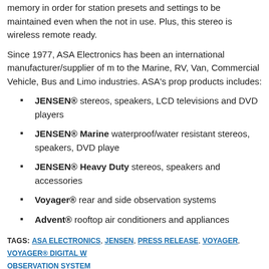memory in order for station presets and settings to be maintained even when the not in use. Plus, this stereo is wireless remote ready.
Since 1977, ASA Electronics has been an international manufacturer/supplier of m to the Marine, RV, Van, Commercial Vehicle, Bus and Limo industries. ASA's pro products includes:
JENSEN® stereos, speakers, LCD televisions and DVD players
JENSEN® Marine waterproof/water resistant stereos, speakers, DVD playe
JENSEN® Heavy Duty stereos, speakers and accessories
Voyager® rear and side observation systems
Advent® rooftop air conditioners and appliances
TAGS: ASA ELECTRONICS, JENSEN, PRESS RELEASE, VOYAGER, VOYAGER® DIGITAL W OBSERVATION SYSTEM
TWEET THIS  DIGG THIS  SAVE TO DELICIOUS  STUMBLE IT
15 Comments
john mcgaughey
DECEMBER 21, 2012 AT 2:53 PM